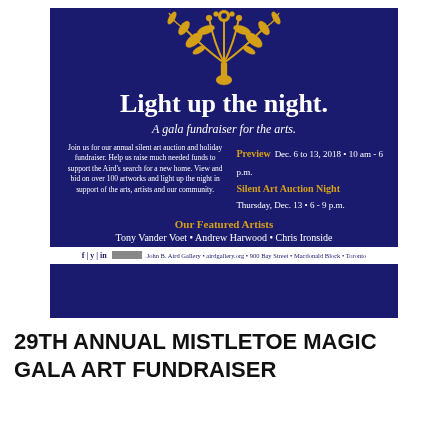[Figure (illustration): Dark navy blue event poster for John B. Aird Gallery. Features gold floral/botanical illustration at top. Text reads: 'Light up the night. A gala fundraiser for the arts.' Details about preview Dec. 6-13 2018 and Silent Art Auction Night Thursday Dec. 13 6-9pm. Featured Artists: Tony Vander Voet, Andrew Harwood, Chris Ironside. Footer with social icons and gallery address.]
29TH ANNUAL MISTLETOE MAGIC GALA ART FUNDRAISER